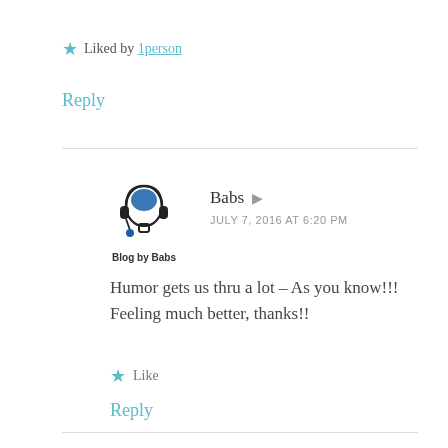★ Liked by 1person
Reply
[Figure (logo): Blog by Babs logo — silhouette of a head with headphones and a blue brain, text below reads 'Blog by Babs']
Babs ▲
JULY 7, 2016 AT 6:20 PM
Humor gets us thru a lot – As you know!!! Feeling much better, thanks!!
★ Like
Reply